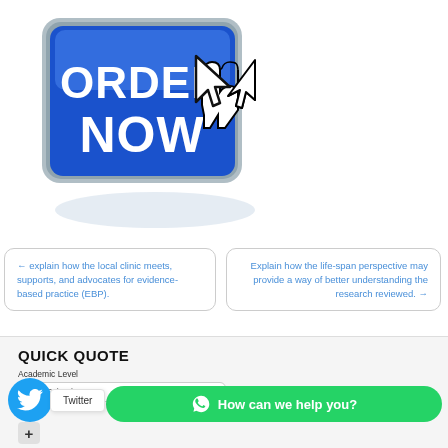[Figure (illustration): Blue 3D 'ORDER NOW' button with a cursor/hand pointer clicking it, on a white background]
← explain how the local clinic meets, supports, and advocates for evidence-based practice (EBP).
Explain how the life-span perspective may provide a way of better understanding the research reviewed. →
QUICK QUOTE
Academic Level
High School
[Figure (logo): Twitter bird logo in a blue circle with 'Twitter' label]
⊕ How can we help you?
+